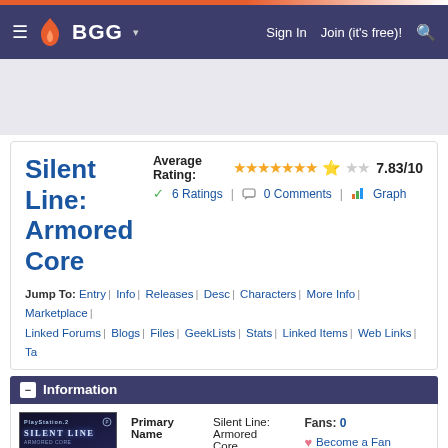BGG navigation bar with Sign In, Join (it's free)!, and search
Silent Line: Armored Core
Average Rating: 7.83/10 | 6 Ratings | 0 Comments | Graph
Jump To: Entry | Info | Releases | Desc | Characters | More Info | Marketplace | Linked Forums | Blogs | Files | GeekLists | Stats | Linked Items | Web Links | Ta
Information
|  | Field | Value | Actions |
| --- | --- | --- | --- |
|  | Primary Name | Silent Line: Armored Core | Fans: 0
Become a Fan |
|  | Alternate Names | Armored Core 3: Silent Line | Corrections |